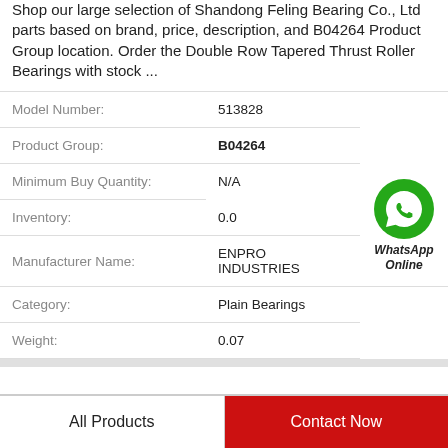Shop our large selection of Shandong Feling Bearing Co., Ltd parts based on brand, price, description, and B04264 Product Group location. Order the Double Row Tapered Thrust Roller Bearings with stock ...
| Model Number: | 513828 |
| Product Group: | B04264 |
| Minimum Buy Quantity: | N/A |
| Inventory: | 0.0 |
| Manufacturer Name: | ENPRO INDUSTRIES |
| Category: | Plain Bearings |
| Weight: | 0.07 |
All Products
Contact Now